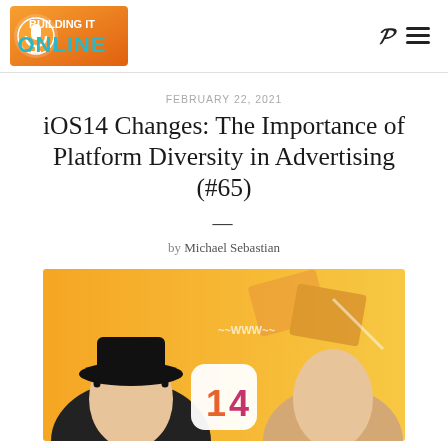Building It Online — navigation header with logo and icons
FEBRUARY 22, 2021
iOS14 Changes: The Importance of Platform Diversity in Advertising (#65)
by Michael Sebastian
[Figure (illustration): Illustration for podcast episode showing two cartoon character faces with iOS 14 icon and orange/yellow background with envelope graphics]